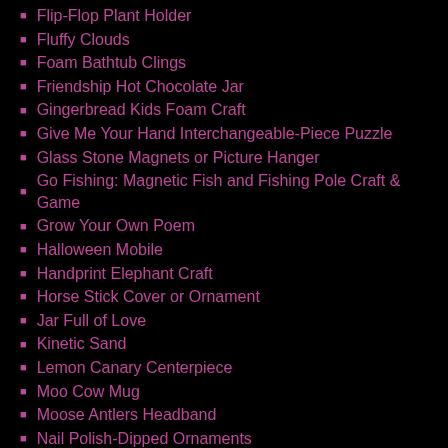Flip-Flop Plant Holder
Fluffy Clouds
Foam Bathtub Clings
Friendship Hot Chocolate Jar
Gingerbread Kids Foam Craft
Give Me Your Hand Interchangeable-Piece Puzzle
Glass Stone Magnets or Picture Hanger
Go Fishing: Magnetic Fish and Fishing Pole Craft & Game
Grow Your Own Poem
Halloween Mobile
Handprint Elephant Craft
Horse Stick Cover or Ornament
Jar Full of Love
Kinetic Sand
Lemon Canary Centerpiece
Moo Cow Mug
Moose Antlers Headband
Nail Polish-Dipped Ornaments
Neck Warmer or Pillow
Paper Plate Tree
Penguins Spice-Bottle Craft
Pet Paw Magnet
Pocket Poem Carrier